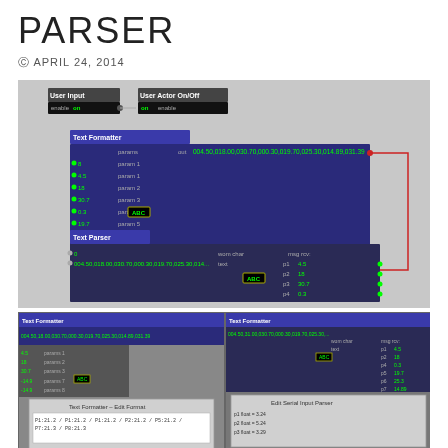PARSER
APRIL 24, 2014
[Figure (screenshot): Node-based visual programming diagram showing a Text Formatter node connected to a Text Parser node. Text Formatter inputs: 8, 4.5, 18, 30.7, 0.3, 19.7, 25.3, -14.9, 31.4 with params 1-8. Output: 004.50,018.00,030.70,000.30,019.70,025.30,014.89,031.39. Text Parser receives this string and outputs p1-p8 values with an ABC label box. Also shows User Input and User Actor On/Off nodes at top.]
[Figure (screenshot): Two screenshots side by side: left shows Text Formatter Edit Format dialog with format strings, right shows Edit Serial Input Parser dialog with p1 float, p2 float, p3 float settings.]